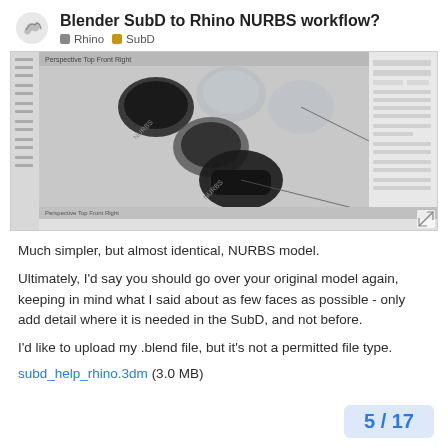Blender SubD to Rhino NURBS workflow?
[Figure (screenshot): Rhino 3D software interface showing several SubD/NURBS shape objects in a top viewport, with a properties panel visible on the right side.]
Much simpler, but almost identical, NURBS model.
Ultimately, I'd say you should go over your original model again, keeping in mind what I said about as few faces as possible - only add detail where it is needed in the SubD, and not before.
I'd like to upload my .blend file, but it's not a permitted file type.
subd_help_rhino.3dm (3.0 MB)
5 / 17